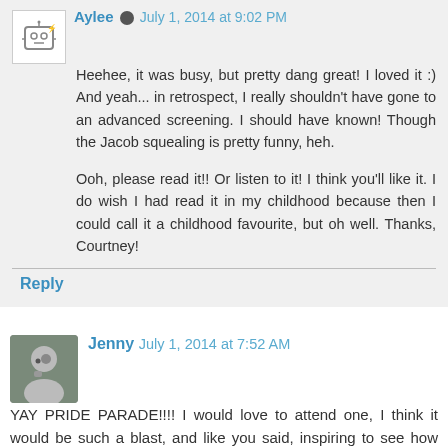Aylee · July 1, 2014 at 9:02 PM
Heehee, it was busy, but pretty dang great! I loved it :) And yeah... in retrospect, I really shouldn't have gone to an advanced screening. I should have known! Though the Jacob squealing is pretty funny, heh.

Ooh, please read it!! Or listen to it! I think you'll like it. I do wish I had read it in my childhood because then I could call it a childhood favourite, but oh well. Thanks, Courtney!
Reply
Jenny  July 1, 2014 at 7:52 AM
YAY PRIDE PARADE!!!! I would love to attend one, I think it would be such a blast, and like you said, inspiring to see how many people are there to celebrate love in whatever form it comes in:) The Toronto Zoo looks absolutely amazing, I love the picture of the panda just chillin. As you